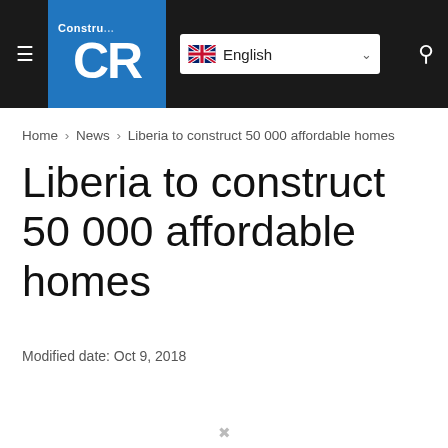CR Construct | English
Home › News › Liberia to construct 50 000 affordable homes
Liberia to construct 50 000 affordable homes
Modified date: Oct 9, 2018